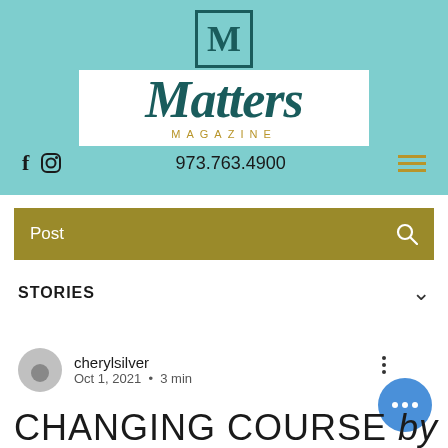[Figure (logo): Matters Magazine logo on teal background with M lettermark, 'Matters' in italic serif, 'MAGAZINE' in spaced caps, social icons, phone number 973.763.4900, and hamburger menu]
Post
STORIES
cherylsilver
Oct 1, 2021 · 3 min
CHANGING COURSE by